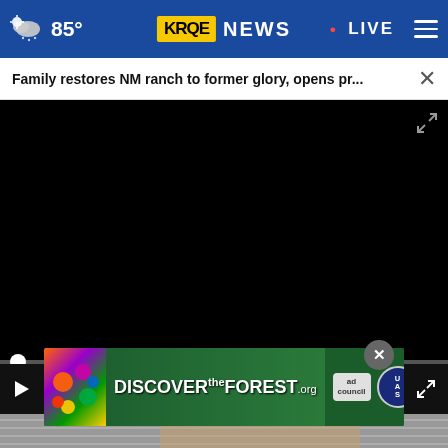85° KRQE NEWS • LIVE
Family restores NM ranch to former glory, opens pr...
[Figure (screenshot): Black video player area with scrubber bar and playback controls showing 00:00 timestamp]
[Figure (screenshot): Advertisement banner for DISCOVERtheFOREST.org with colorful flowers on the left, forest background in center, and ad council/USDA Forest Service badges on the right]